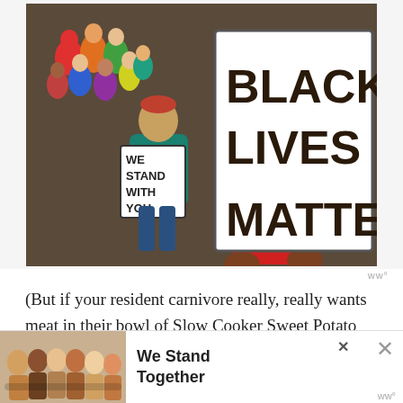[Figure (illustration): A painted illustration showing a group of people at a protest. A central figure in a teal/green shirt holds a sign reading 'WE STAND WITH YOU'. Behind them, a person in red holds a large sign reading 'BLACK LIVES MATTER'. Colorful crowd of people in the background.]
ww°
(But if your resident carnivore really, really wants meat in their bowl of Slow Cooker Sweet Potato Quinoa Chili, this chili would lend itself well to some shredded chicken or browned ground [turkey or beef])  ww°
[Figure (photo): Advertisement banner at bottom of page showing a group of diverse people with arms around each other, with text 'We Stand Together' and close/X buttons.]